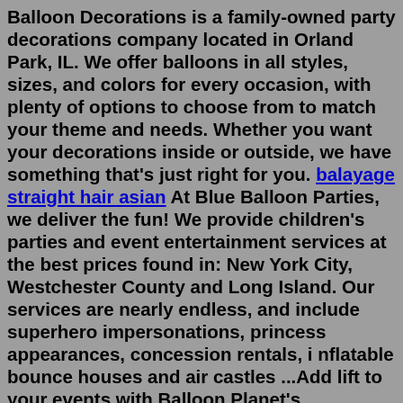Balloon Decorations is a family-owned party decorations company located in Orland Park, IL. We offer balloons in all styles, sizes, and colors for every occasion, with plenty of options to choose from to match your theme and needs. Whether you want your decorations inside or outside, we have something that's just right for you. balayage straight hair asian At Blue Balloon Parties, we deliver the fun! We provide children's parties and event entertainment services at the best prices found in: New York City, Westchester County and Long Island. Our services are nearly endless, and include superhero impersonations, princess appearances, concession rentals, i nflatable bounce houses and air castles ...Add lift to your events with Balloon Planet's professionally designed balloon decor. Choose from our priced-to-order-online balloon decor such as Balloon Arches , Balloon Trees, and Balloon Centerpieces or call us toll free at (866) 966-8964 for expert assistance in decorating your next event with balloons in West Palm Beach. Find the best Balloo...